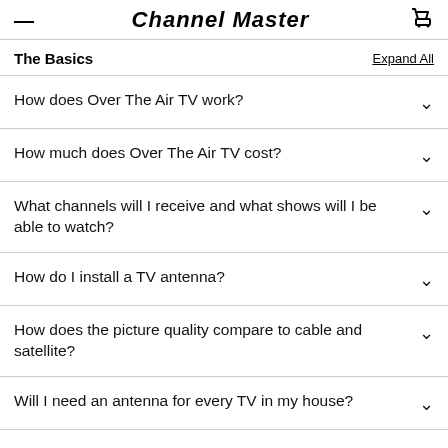Channel Master
The Basics
How does Over The Air TV work?
How much does Over The Air TV cost?
What channels will I receive and what shows will I be able to watch?
How do I install a TV antenna?
How does the picture quality compare to cable and satellite?
Will I need an antenna for every TV in my house?
Can my apartment or homeowners